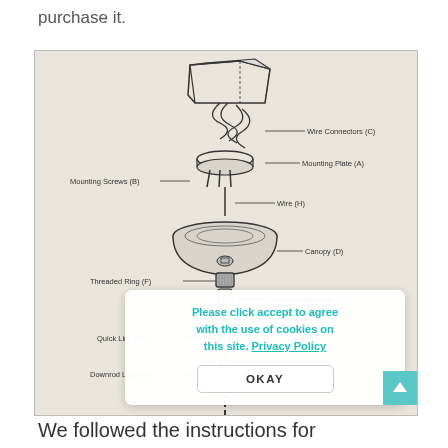purchase it.
[Figure (engineering-diagram): Exploded assembly diagram of a ceiling fan/light fixture mounting system, showing labeled parts: Wire Connectors (C), Mounting Plate (A), Mounting Screws (B), Wire (H), Canopy (D), Threaded Ring (F), Screw Collar Loop (E), Quick Link (G), Downrod Loop (J)]
Please click accept to agree with the use of cookies on this site. Privacy Policy
OKAY
We followed the instructions for